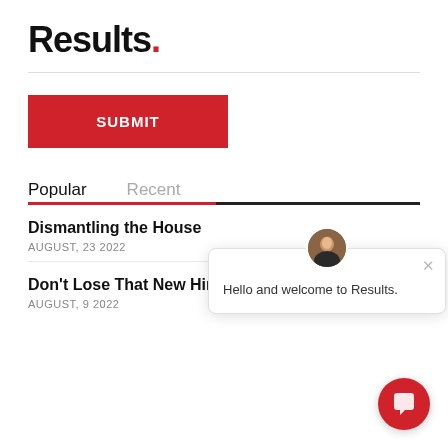Results.
[Figure (screenshot): Red SUBMIT button]
Popular | Recent
Dismantling the House
AUGUST, 23 2022
Don't Lose That New Hire! Get the Onboarding Ri
AUGUST, 9 2022
[Figure (screenshot): Chat popup: Hello and welcome to Results. with avatar and close button]
[Figure (screenshot): Red round chat button at bottom right]